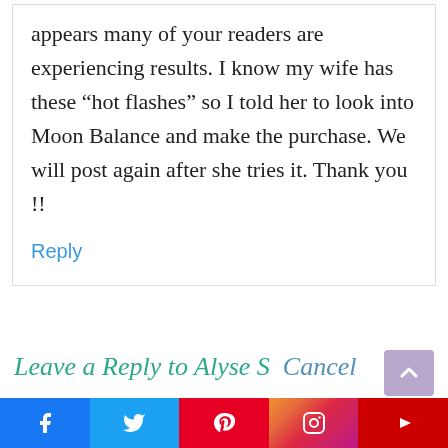appears many of your readers are experiencing results. I know my wife has these “hot flashes” so I told her to look into Moon Balance and make the purchase. We will post again after she tries it. Thank you !!
Reply
Leave a Reply to Alyse S   Cancel